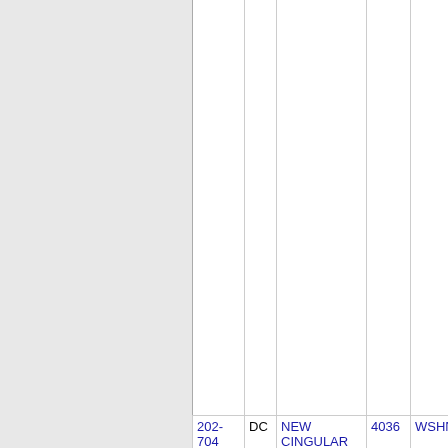| NPA | ST | CO | NUM | CITY |
| --- | --- | --- | --- | --- |
| 202-704 | DC | NEW CINGULAR WIRELESS PCS, LLC (AT&T Wireless) | 4036 | WSHNGTN |